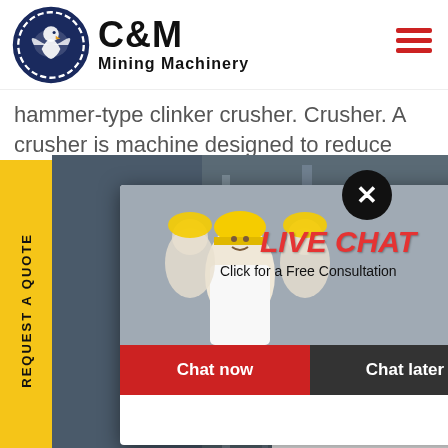[Figure (logo): C&M Mining Machinery logo with eagle gear emblem in dark navy blue circle]
hammer-type clinker crusher. Crusher. A crusher is machine designed to reduce large rocks ...
[Figure (photo): Live chat popup overlay showing workers in yellow hard hats, LIVE CHAT title in red italic, Click for a Free Consultation text, Chat now (red) and Chat later (dark) buttons]
[Figure (photo): Industrial machinery/factory background image with steel scaffolding structures]
[Figure (photo): Customer service agent - woman with headset smiling]
REQUEST A QUOTE
Hours
line
Click to Chat
Enquiry